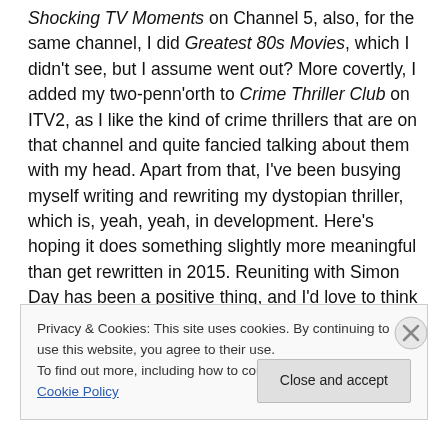Shocking TV Moments on Channel 5, also, for the same channel, I did Greatest 80s Movies, which I didn't see, but I assume went out? More covertly, I added my two-penn'orth to Crime Thriller Club on ITV2, as I like the kind of crime thrillers that are on that channel and quite fancied talking about them with my head. Apart from that, I've been busying myself writing and rewriting my dystopian thriller, which is, yeah, yeah, in development. Here's hoping it does something slightly more meaningful than get rewritten in 2015. Reuniting with Simon Day has been a positive thing, and I'd love to think we can do something
Privacy & Cookies: This site uses cookies. By continuing to use this website, you agree to their use.
To find out more, including how to control cookies, see here: Cookie Policy